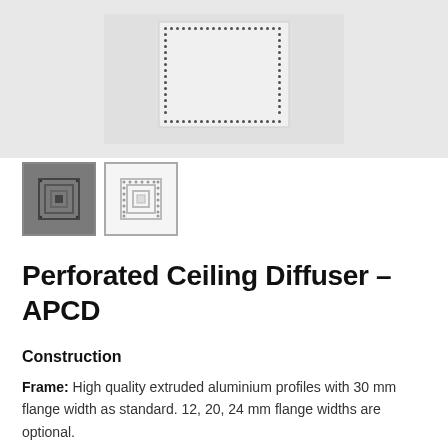[Figure (photo): Main product image of a Perforated Ceiling Diffuser APCD shown against a light gray background, with a dotted perforated square face plate visible from above.]
[Figure (photo): Thumbnail 1: Dark gray background showing the diffuser from a front angle.]
[Figure (photo): Thumbnail 2: White background showing the diffuser from a slightly angled view, selected state with border.]
Perforated Ceiling Diffuser – APCD
Construction
Frame: High quality extruded aluminium profiles with 30 mm flange width as standard. 12, 20, 24 mm flange widths are optional.